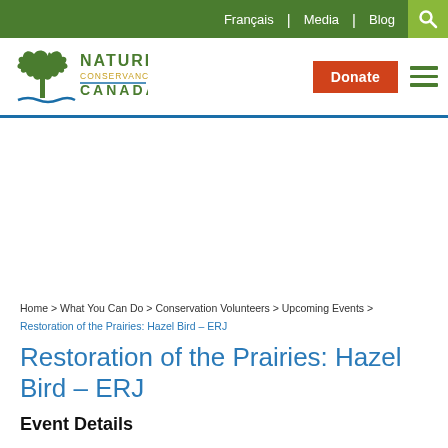Français | Media | Blog
[Figure (logo): Nature Conservancy Canada logo with green maple leaf and text]
Donate
Home > What You Can Do > Conservation Volunteers > Upcoming Events > Restoration of the Prairies: Hazel Bird – ERJ
Restoration of the Prairies: Hazel Bird – ERJ
Event Details